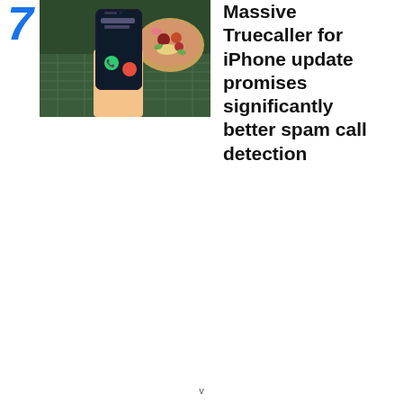7
[Figure (photo): A person holding a smartphone showing a call screen (Truecaller interface with green and red buttons), with a bowl of food visible in the background on a table.]
Massive Truecaller for iPhone update promises significantly better spam call detection